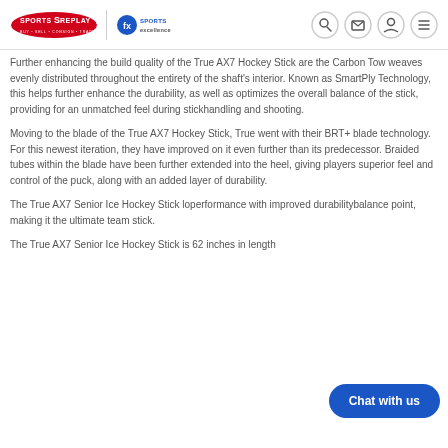Sports Replay | Sports Excellence — BUY • SELL • CONSIGN • TRADE • RENT
Further enhancing the build quality of the True AX7 Hockey Stick are the Carbon Tow weaves evenly distributed throughout the entirety of the shaft's interior. Known as SmartPly Technology, this helps further enhance the durability, as well as optimizes the overall balance of the stick, providing for an unmatched feel during stickhandling and shooting.
Moving to the blade of the True AX7 Hockey Stick, True went with their BRT+ blade technology. For this newest iteration, they have improved on it even further than its predecessor. Braided tubes within the blade have been further extended into the heel, giving players superior feel and control of the puck, along with an added layer of durability.
The True AX7 Senior Ice Hockey Stick lo... performance with improved durability... balance point, making it the ultimate team stick.
The True AX7 Senior Ice Hockey Stick is 62 inches in length...